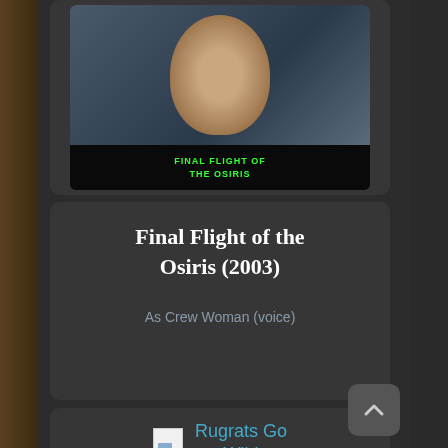[Figure (photo): Movie poster for 'Final Flight of the Osiris' showing a woman's face with futuristic elements in upper portion, and green glowing text title on black background in lower portion]
Final Flight of the Osiris (2003)
As Crew Woman (voice)
[Figure (other): Broken image placeholder with text 'Rugrats Go Wild' in teal/cyan color]